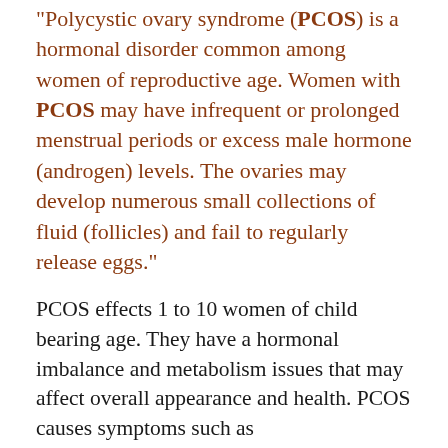"Polycystic ovary syndrome (PCOS) is a hormonal disorder common among women of reproductive age. Women with PCOS may have infrequent or prolonged menstrual periods or excess male hormone (androgen) levels. The ovaries may develop numerous small collections of fluid (follicles) and fail to regularly release eggs."
PCOS effects 1 to 10 women of child bearing age. They have a hormonal imbalance and metabolism issues that may affect overall appearance and health. PCOS causes symptoms such as abnormal/irregular menstruation, obesity, overweight, or weight gain, acne or oily skin, infertility, depression, loss of scalp hair, or unwanted hair. Treatments include birth control pills to regularize periods, a medication called metformin to prevent diabetes, statins to control high cholesterol,